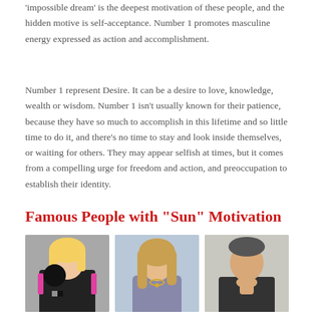'impossible dream' is the deepest motivation of these people, and the hidden motive is self-acceptance. Number 1 promotes masculine energy expressed as action and accomplishment.
Number 1 represent Desire. It can be a desire to love, knowledge, wealth or wisdom. Number 1 isn't usually known for their patience, because they have so much to accomplish in this lifetime and so little time to do it, and there's no time to stay and look inside themselves, or waiting for others. They may appear selfish at times, but it comes from a compelling urge for freedom and action, and preoccupation to establish their identity.
Famous People with "Sun" Motivation
[Figure (photo): Three celebrity photos side by side: a blonde woman in racing outfit with helmet, a young man with long hair and necklace, and a man with short hair resting chin on hand.]